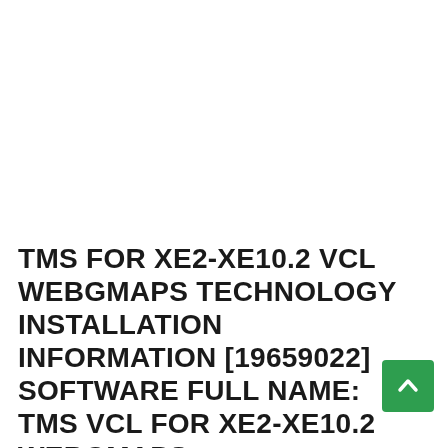TMS FOR XE2-XE10.2 VCL WEBGMAPS TECHNOLOGY INSTALLATION INFORMATION [19659022] SOFTWARE FULL NAME: TMS VCL FOR XE2-XE10.2 WEBGMAPS